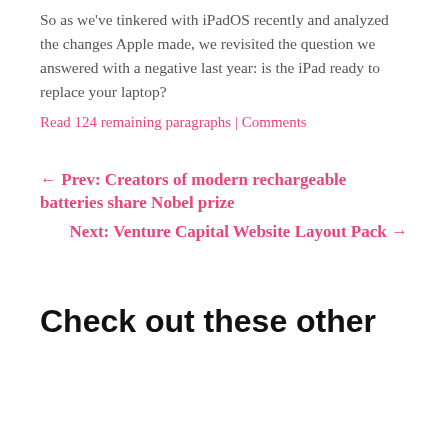So as we've tinkered with iPadOS recently and analyzed the changes Apple made, we revisited the question we answered with a negative last year: is the iPad ready to replace your laptop?
Read 124 remaining paragraphs | Comments
← Prev: Creators of modern rechargeable batteries share Nobel prize
Next: Venture Capital Website Layout Pack →
Check out these other articles